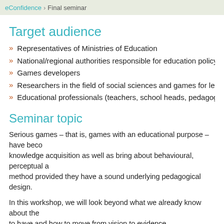eConfidence › Final seminar
Target audience
Representatives of Ministries of Education
National/regional authorities responsible for education policy
Games developers
Researchers in the field of social sciences and games for learning
Educational professionals (teachers, school heads, pedagogical c…
Seminar topic
Serious games – that is, games with an educational purpose – have become a recognised method for knowledge acquisition as well as bring about behavioural, perceptual and attitudinal changes. They can be an effective teaching method provided they have a sound underlying pedagogical design.
In this workshop, we will look beyond what we already know about the vision we want games to have and how to move from vision to evidence.